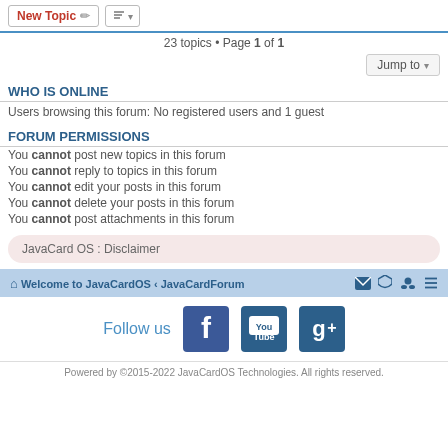New Topic | sort | 23 topics • Page 1 of 1
Jump to
WHO IS ONLINE
Users browsing this forum: No registered users and 1 guest
FORUM PERMISSIONS
You cannot post new topics in this forum
You cannot reply to topics in this forum
You cannot edit your posts in this forum
You cannot delete your posts in this forum
You cannot post attachments in this forum
JavaCard OS : Disclaimer
Welcome to JavaCardOS ‹ JavaCardForum
[Figure (infographic): Follow us social media icons: Facebook, YouTube, Google+]
Powered by ©2015-2022 JavaCardOS Technologies. All rights reserved.